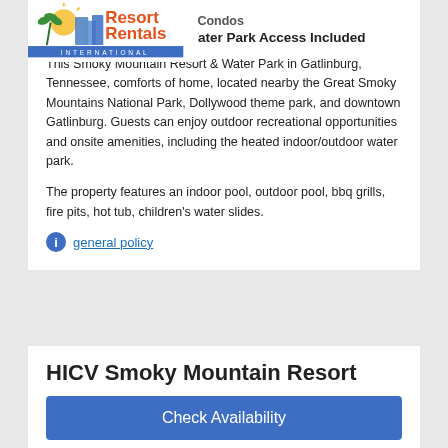[Figure (logo): Resort Rentals International logo with sun, buildings, and palm trees]
1-Bedroom & 2-Bedroom Condos
• Excellent Location - Water Park Access Included
This Smoky Mountain Resort & Water Park in Gatlinburg, Tennessee, comforts of home, located nearby the Great Smoky Mountains National Park, Dollywood theme park, and downtown Gatlinburg. Guests can enjoy outdoor recreational opportunities and onsite amenities, including the heated indoor/outdoor water park.
The property features an indoor pool, outdoor pool, bbq grills, fire pits, hot tub, children's water slides.
general policy
HICV Smoky Mountain Resort
Check Availability
Gatlinburg, TN
• 2-Bedroom Condo
• Excellent Downtown Location - Water Park Access Included